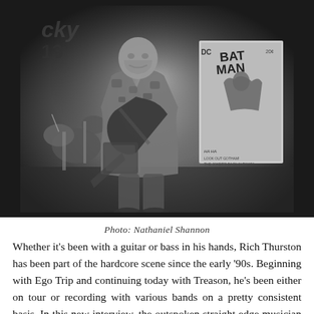[Figure (photo): Black and white concert photo of a heavyset man playing electric guitar on stage, wearing a camouflage hoodie and jeans. A drum kit is visible behind him to the left, and a large Batman comic book poster is displayed behind him to the right. The venue appears to have a 'Lucky 13' sign in the background.]
Photo: Nathaniel Shannon
Whether it's been with a guitar or bass in his hands, Rich Thurston has been part of the hardcore scene since the early '90s. Beginning with Ego Trip and continuing today with Treason, he's been either on tour or recording with various bands on a pretty consistent basis. In this new interview, the outspoken straight edge musician talks about his life in hardcore and shares his opinions on some hot